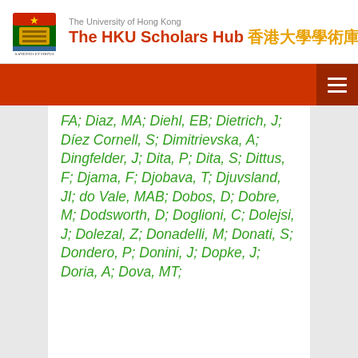The University of Hong Kong — The HKU Scholars Hub 香港大學學術庫
FA; Diaz, MA; Diehl, EB; Dietrich, J; Díez Cornell, S; Dimitrievska, A; Dingfelder, J; Dita, P; Dita, S; Dittus, F; Djama, F; Djobava, T; Djuvsland, JI; do Vale, MAB; Dobos, D; Dobre, M; Dodsworth, D; Doglioni, C; Dolejsi, J; Dolezal, Z; Donadelli, M; Donati, S; Dondero, P; Donini, J; Dopke, J; Doria, A; Dova, MT;